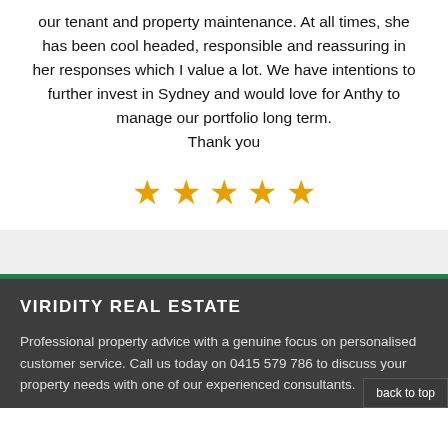our tenant and property maintenance. At all times, she has been cool headed, responsible and reassuring in her responses which I value a lot. We have intentions to further invest in Sydney and would love for Anthy to manage our portfolio long term.
Thank you
[Figure (other): Five orange/gold star rating icons displayed in a row]
VIRIDITY REAL ESTATE
Professional property advice with a genuine focus on personalised customer service. Call us today on 0415 579 786 to discuss your property needs with one of our experienced consultants.